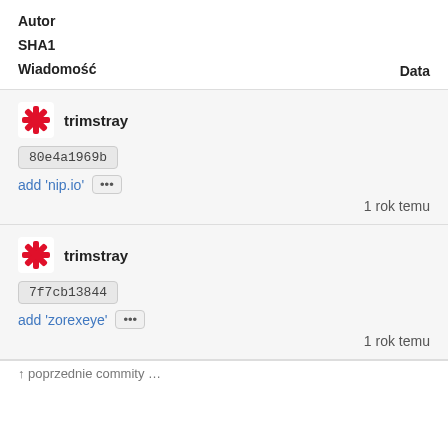| Autor | SHA1 | Wiadomość | Data |
| --- | --- | --- | --- |
| trimstray | 80e4a1969b | add 'nip.io' | 1 rok temu |
| trimstray | 7f7cb13844 | add 'zorexeye' | 1 rok temu |
1 rok temu